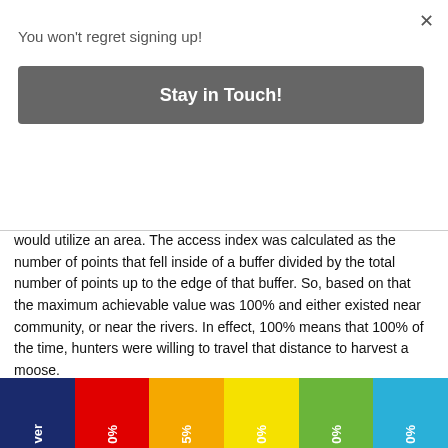You won't regret signing up!
Stay in Touch!
would utilize an area. The access index was calculated as the number of points that fell inside of a buffer divided by the total number of points up to the edge of that buffer. So, based on that the maximum achievable value was 100% and either existed near community, or near the rivers. In effect, 100% means that 100% of the time, hunters were willing to travel that distance to harvest a moose.
[Figure (bar-chart): Colored bar segments (navy, red, orange, yellow, green, blue) with rotated white percentage labels, partially visible at bottom of page.]